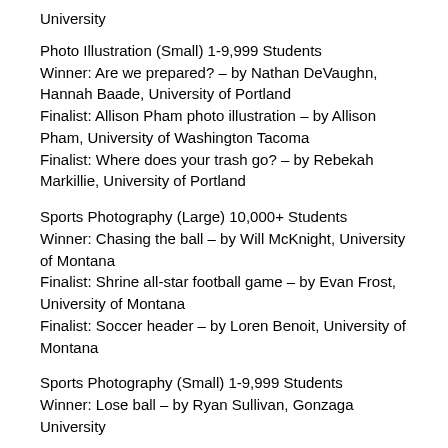University
Photo Illustration (Small) 1-9,999 Students
Winner: Are we prepared? – by Nathan DeVaughn, Hannah Baade, University of Portland
Finalist: Allison Pham photo illustration – by Allison Pham, University of Washington Tacoma
Finalist: Where does your trash go? – by Rebekah Markillie, University of Portland
Sports Photography (Large) 10,000+ Students
Winner: Chasing the ball – by Will McKnight, University of Montana
Finalist: Shrine all-star football game – by Evan Frost, University of Montana
Finalist: Soccer header – by Loren Benoit, University of Montana
Sports Photography (Small) 1-9,999 Students
Winner: Lose ball – by Ryan Sullivan, Gonzaga University